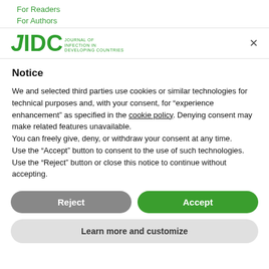For Readers
For Authors
[Figure (logo): JIDC journal logo with green text and subtitle, with close X button]
Notice
We and selected third parties use cookies or similar technologies for technical purposes and, with your consent, for “experience enhancement” as specified in the cookie policy. Denying consent may make related features unavailable.
You can freely give, deny, or withdraw your consent at any time.
Use the “Accept” button to consent to the use of such technologies. Use the “Reject” button or close this notice to continue without accepting.
Reject
Accept
Learn more and customize